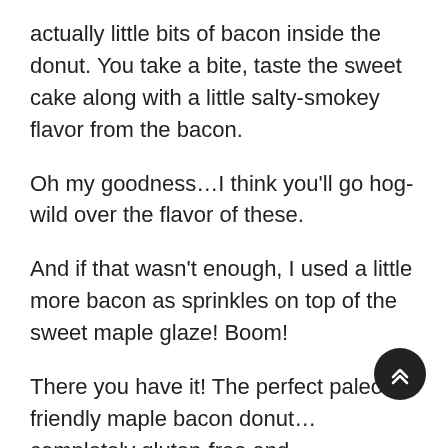actually little bits of bacon inside the donut. You take a bite, taste the sweet cake along with a little salty-smokey flavor from the bacon.
Oh my goodness…I think you'll go hog-wild over the flavor of these.
And if that wasn't enough, I used a little more bacon as sprinkles on top of the sweet maple glaze! Boom!
There you have it! The perfect paleo-friendly maple bacon donut…completely gluten-free and